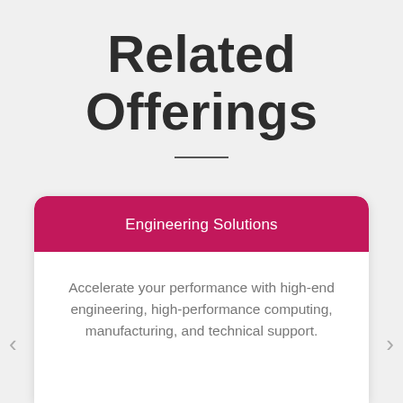Related Offerings
Engineering Solutions
Accelerate your performance with high-end engineering, high-performance computing, manufacturing, and technical support.